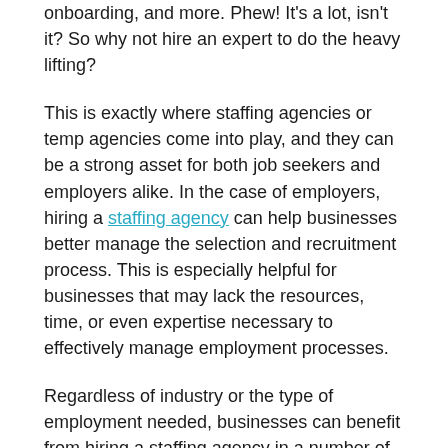onboarding, and more. Phew! It's a lot, isn't it? So why not hire an expert to do the heavy lifting?
This is exactly where staffing agencies or temp agencies come into play, and they can be a strong asset for both job seekers and employers alike. In the case of employers, hiring a staffing agency can help businesses better manage the selection and recruitment process. This is especially helpful for businesses that may lack the resources, time, or even expertise necessary to effectively manage employment processes.
Regardless of industry or the type of employment needed, businesses can benefit from hiring a staffing agency in a number of ways. Here are just few:
Experience and expertise
Staffing companies possess a keen sense of both experience and expertise that is often greater than the average human resources department. In addition, their